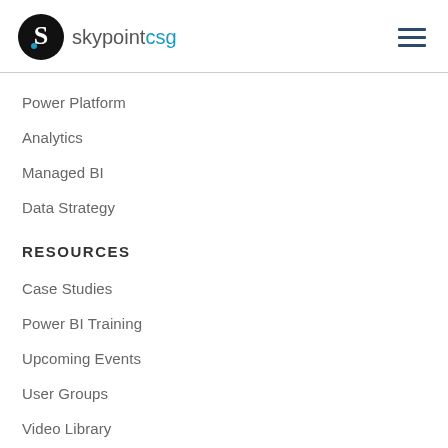skypointcsg
Power Platform
Analytics
Managed BI
Data Strategy
RESOURCES
Case Studies
Power BI Training
Upcoming Events
User Groups
Video Library